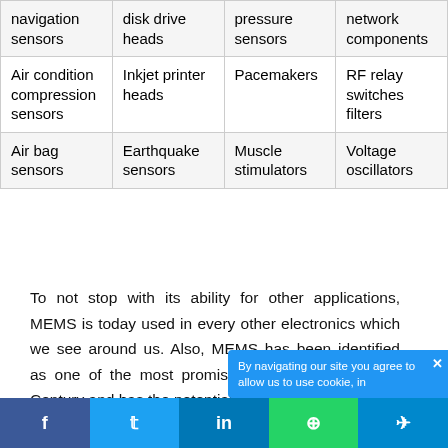| navigation sensors | disk drive heads | pressure sensors | network components |
| Air condition compression sensors | Inkjet printer heads | Pacemakers | RF relay switches filters |
| Air bag sensors | Earthquake sensors | Muscle stimulators | Voltage oscillators |
To not stop with its ability for other applications, MEMS is today used in every other electronics which we see around us. Also, MEMS has been identified as one of the most promising technologies for the 21st Century and has the potential to revolutionize...